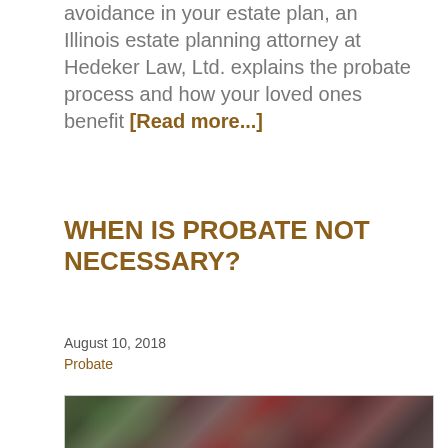avoidance in your estate plan, an Illinois estate planning attorney at Hedeker Law, Ltd. explains the probate process and how your loved ones benefit [Read more...]
WHEN IS PROBATE NOT NECESSARY?
August 10, 2018
Probate
[Figure (photo): Close-up photograph of leaves and rocks, with red and green foliage visible]